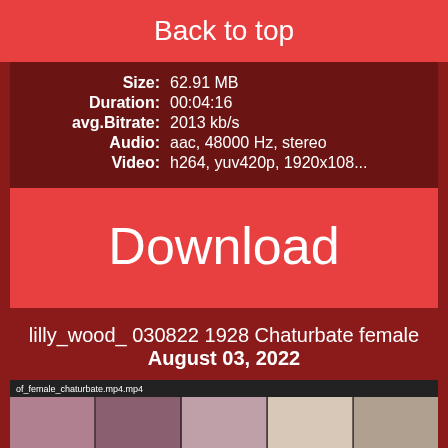Back to top
Size: 62.91 MB
Duration: 00:04:16
avg.Bitrate: 2013 kb/s
Audio: aac, 48000 Hz, stereo
Video: h264, yuv420p, 1920x108...
Download
lilly_wood_ 030822 1928 Chaturbate female
August 03, 2022
[Figure (screenshot): Video thumbnail strip showing multiple frames from the video]